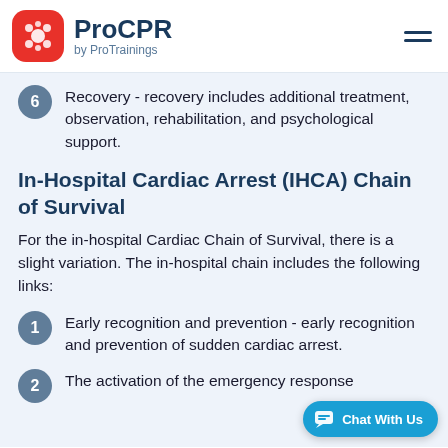ProCPR by ProTrainings
6 Recovery - recovery includes additional treatment, observation, rehabilitation, and psychological support.
In-Hospital Cardiac Arrest (IHCA) Chain of Survival
For the in-hospital Cardiac Chain of Survival, there is a slight variation. The in-hospital chain includes the following links:
1 Early recognition and prevention - early recognition and prevention of sudden cardiac arrest.
2 The activation of the emergency response